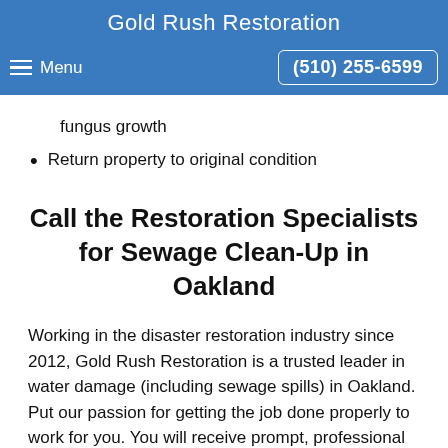Gold Rush Restoration
fungus growth
Return property to original condition
Call the Restoration Specialists for Sewage Clean-Up in Oakland
Working in the disaster restoration industry since 2012, Gold Rush Restoration is a trusted leader in water damage (including sewage spills) in Oakland. Put our passion for getting the job done properly to work for you. You will receive prompt, professional service and a team that cares about your property and your health. Sewage spills create serious health risks. We understand what is at